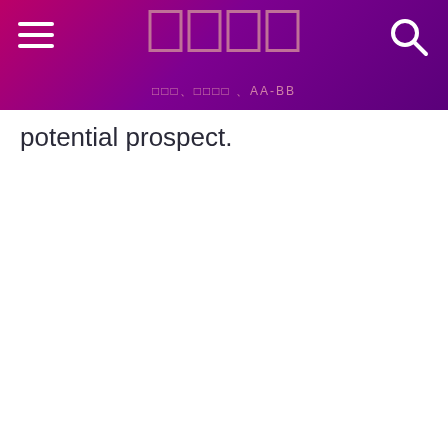□□□□ — □□□、□□□□、AA-BB
potential prospect.